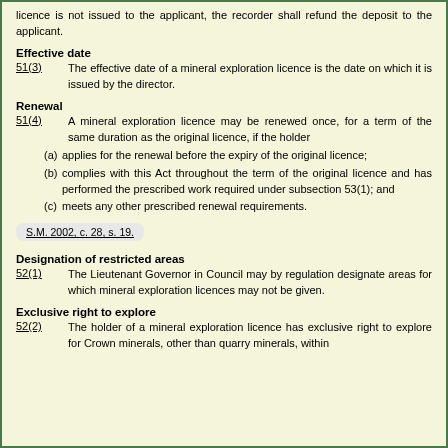licence is not issued to the applicant, the recorder shall refund the deposit to the applicant.
Effective date
51(3)   The effective date of a mineral exploration licence is the date on which it is issued by the director.
Renewal
51(4)   A mineral exploration licence may be renewed once, for a term of the same duration as the original licence, if the holder
(a) applies for the renewal before the expiry of the original licence;
(b) complies with this Act throughout the term of the original licence and has performed the prescribed work required under subsection 53(1); and
(c) meets any other prescribed renewal requirements.
S.M. 2002, c. 28, s. 19.
Designation of restricted areas
52(1)   The Lieutenant Governor in Council may by regulation designate areas for which mineral exploration licences may not be given.
Exclusive right to explore
52(2)   The holder of a mineral exploration licence has exclusive right to explore for Crown minerals, other than quarry minerals, within